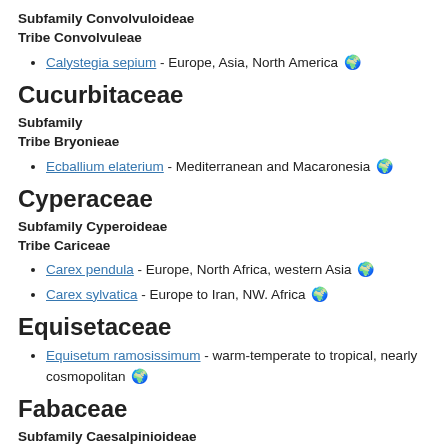Subfamily Convolvuloideae
Tribe Convolvuleae
Calystegia sepium - Europe, Asia, North America 🌍
Cucurbitaceae
Subfamily
Tribe Bryonieae
Ecballium elaterium - Mediterranean and Macaronesia 🌍
Cyperaceae
Subfamily Cyperoideae
Tribe Cariceae
Carex pendula - Europe, North Africa, western Asia 🌍
Carex sylvatica - Europe to Iran, NW. Africa 🌍
Equisetaceae
Equisetum ramosissimum - warm-temperate to tropical, nearly cosmopolitan 🌍
Fabaceae
Subfamily Caesalpinioideae